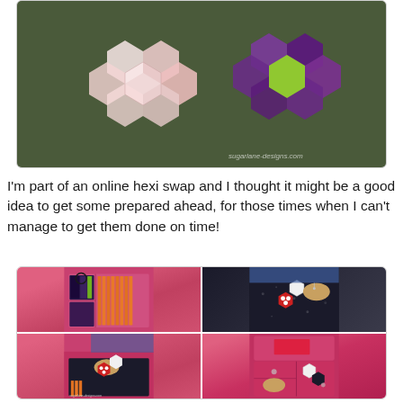[Figure (photo): Photo of hexagon quilt blocks - pink/white and purple hexagon flower patterns on a dark background, with a watermark reading sugarlane-designs.com]
I'm part of an online hexi swap and I thought it might be a good idea to get some prepared ahead, for those times when I can't manage to get them done on time!
[Figure (photo): Four-photo collage showing a pink sewing/craft organizer box with orange ribbons and fabric bundles, black floral hexagon pieces with red polka dot and white hexagons, close-up of hexagon pieces with a pin cushion, and an open pink organizer box with hexagon items inside. Watermark reads sugarlane-designs.com]